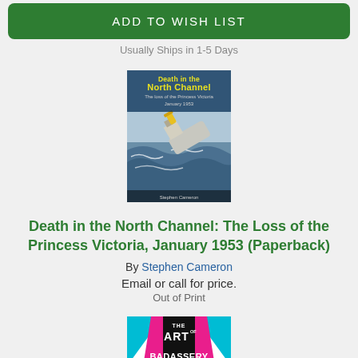ADD TO WISH LIST
Usually Ships in 1-5 Days
[Figure (illustration): Book cover for 'Death in the North Channel: The Loss of the Princess Victoria, January 1953' showing a ship sinking in stormy seas]
Death in the North Channel: The Loss of the Princess Victoria, January 1953 (Paperback)
By Stephen Cameron
Email or call for price.
Out of Print
[Figure (logo): The Art of Badassery logo — colorful graphic with magenta, cyan, black on white background]